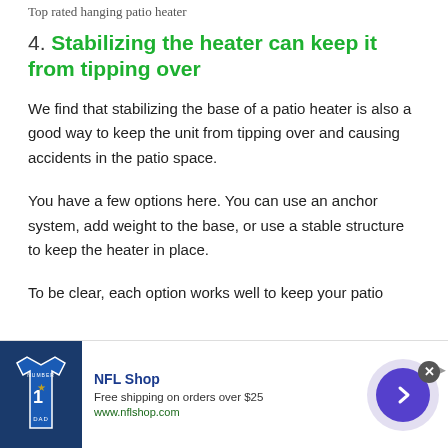Top rated hanging patio heater
4. Stabilizing the heater can keep it from tipping over
We find that stabilizing the base of a patio heater is also a good way to keep the unit from tipping over and causing accidents in the patio space.
You have a few options here. You can use an anchor system, add weight to the base, or use a stable structure to keep the heater in place.
To be clear, each option works well to keep your patio
[Figure (infographic): NFL Shop advertisement banner with jersey image, 'Free shipping on orders over $25', www.nflshop.com, and a purple arrow button]